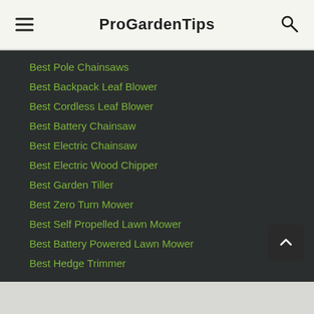ProGardenTips
Best Pole Chainsaws
Best Backpack Leaf Blower
Best Cordless Leaf Blower
Best Battery Chainsaw
Best Electric Chainsaw
Best Electric Wood Chipper
Best Garden Tiller
Best Zero Turn Mower
Best Self Propelled Lawn Mower
Best Battery Powered Lawn Mower
Best Hedge Trimmer